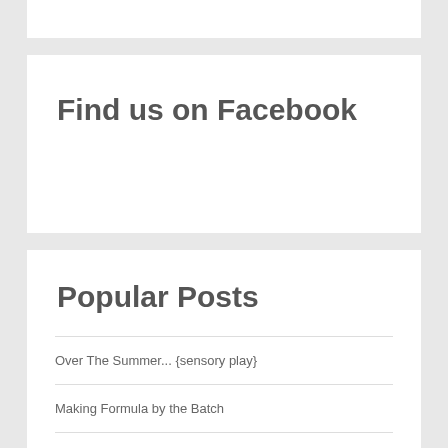Find us on Facebook
Popular Posts
Over The Summer... {sensory play}
Making Formula by the Batch
Over the summer...{DIY projects}